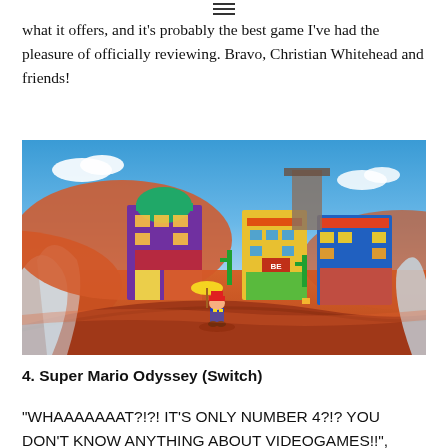☰
what it offers, and it's probably the best game I've had the pleasure of officially reviewing. Bravo, Christian Whitehead and friends!
[Figure (screenshot): Screenshot from Super Mario Odyssey showing Mario running through a colorful desert city landscape with orange sand dunes and vibrant buildings under a blue sky.]
4. Super Mario Odyssey (Switch)
"WHAAAAAAAT?!?! IT'S ONLY NUMBER 4?!? YOU DON'T KNOW ANYTHING ABOUT VIDEOGAMES!!",